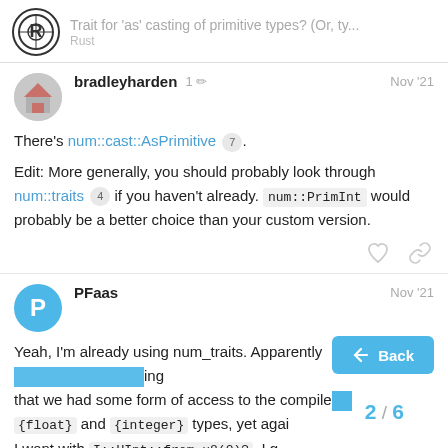Trait for 'as' casting of primitive types? (Or, ty... Rust
There's num::cast::AsPrimitive 7.
Edit: More generally, you should probably look through num::traits 4 if you haven't already. num::PrimInt would probably be a better choice than your custom version.
Yeah, I'm already using num_traits. Apparently [something] ing that we had some form of access to the compile[r] {float} and {integer} types, yet agai[n] [something] I want with I::UInt::from_u8(0)?, I g[ot]